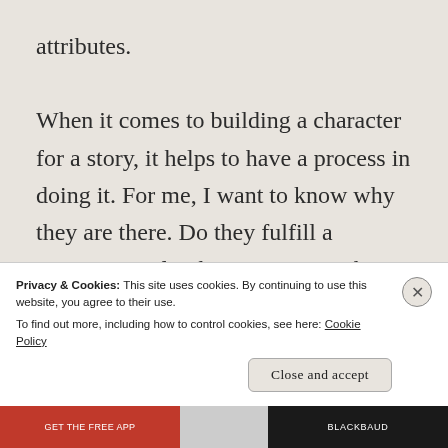attributes.
When it comes to building a character for a story, it helps to have a process in doing it. For me, I want to know why they are there. Do they fulfill a requirement for the story, or are they just fluff? How important are they to the plot? Trying to
Privacy & Cookies: This site uses cookies. By continuing to use this website, you agree to their use.
To find out more, including how to control cookies, see here: Cookie Policy
Close and accept